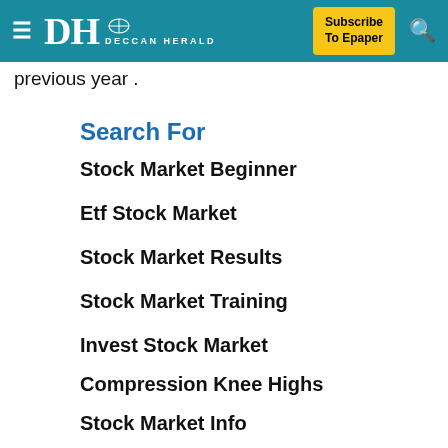DH DECCAN HERALD | Subscribe To Epaper
previous year .
Search For
Stock Market Beginner
Etf Stock Market
Stock Market Results
Stock Market Training
Invest Stock Market
Compression Knee Highs
Stock Market Info